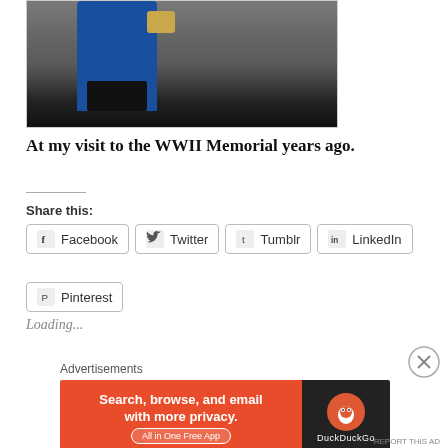[Figure (photo): Person in blue coat/dress standing near a stone wall, holding a patterned bag, at the WWII Memorial]
At my visit to the WWII Memorial years ago.
Share this:
Facebook
Twitter
Tumblr
LinkedIn
Pinterest
Loading...
Advertisements
[Figure (photo): DuckDuckGo advertisement banner: Search, browse, and email with more privacy. All in One Free App. Orange and dark background with DuckDuckGo duck logo.]